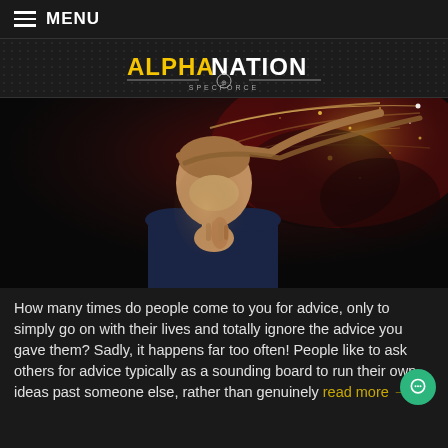≡ MENU
[Figure (logo): AlphaNation SpecForce logo with yellow and white stylized text on dark dotted background]
[Figure (photo): A man in a blue suit with hands clasped in prayer position, head bowed, with dramatic particle/dust dispersion effect emanating from his head against a dark background with red lighting]
How many times do people come to you for advice, only to simply go on with their lives and totally ignore the advice you gave them? Sadly, it happens far too often! People like to ask others for advice typically as a sounding board to run their own ideas past someone else, rather than genuinely read more →